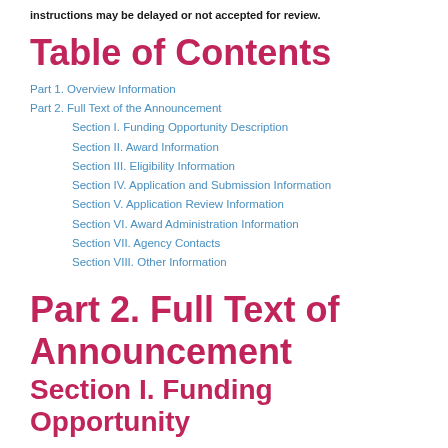instructions may be delayed or not accepted for review.
Table of Contents
Part 1. Overview Information
Part 2. Full Text of the Announcement
Section I. Funding Opportunity Description
Section II. Award Information
Section III. Eligibility Information
Section IV. Application and Submission Information
Section V. Application Review Information
Section VI. Award Administration Information
Section VII. Agency Contacts
Section VIII. Other Information
Part 2. Full Text of Announcement
Section I. Funding Opportunity